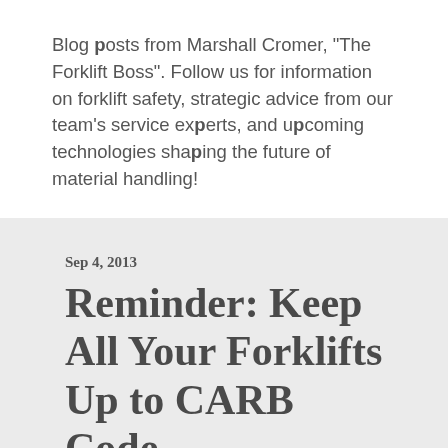Blog posts from Marshall Cromer, "The Forklift Boss". Follow us for information on forklift safety, strategic advice from our team's service experts, and upcoming technologies shaping the future of material handling!
Sep 4, 2013
Reminder: Keep All Your Forklifts Up to CARB Code